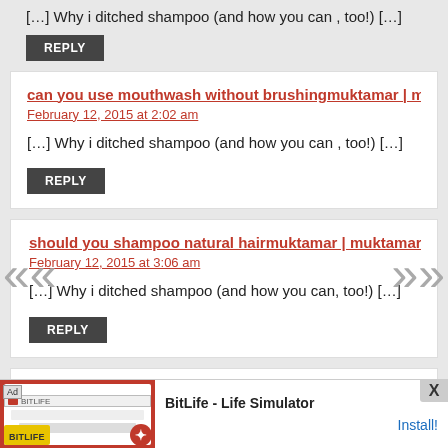[…] Why i ditched shampoo (and how you can , too!) […]
REPLY
can you use mouthwash without brushingmuktamar | muktamar
February 12, 2015 at 2:02 am
[…] Why i ditched shampoo (and how you can , too!) […]
REPLY
should you shampoo natural hairmuktamar | muktamar says:
February 12, 2015 at 3:06 am
[…] Why i ditched shampoo (and how you can, too!) […]
REPLY
[Figure (screenshot): Ad banner for BitLife - Life Simulator app with Install button]